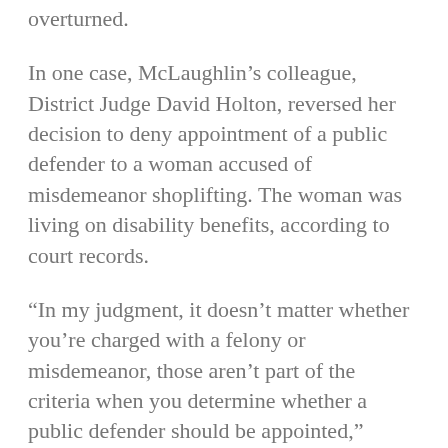overturned.
In one case, McLaughlin’s colleague, District Judge David Holton, reversed her decision to deny appointment of a public defender to a woman accused of misdemeanor shoplifting. The woman was living on disability benefits, according to court records.
“In my judgment, it doesn’t matter whether you’re charged with a felony or misdemeanor, those aren’t part of the criteria when you determine whether a public defender should be appointed,” Holton told KyCIR. “What matters to me is the ability of the defendant to hire counsel.”
In another instance, defendant Shawn Litteral